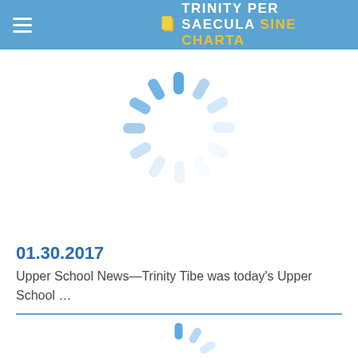TRINITY PER SAECULA SINE CHARTA
[Figure (illustration): Loading spinner animation (circular dashed ring in light blue)]
01.30.2017
Upper School News—Trinity Tibe was today's Upper School ...
[Figure (illustration): Loading spinner animation (circular dashed ring in light blue, partial)]